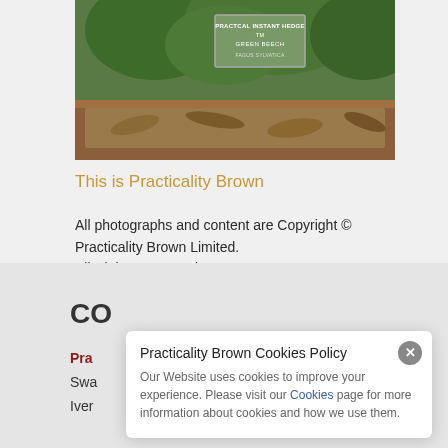[Figure (photo): Photo of a wooden planter/trough filled with hedge plants and dry leaves, with a label sign reading 'PRACTICAL INSTANT HEDGE TM GREEN BEECH FAGUS SYLVATICA']
This is Practicality Brown
All photographs and content are Copyright © Practicality Brown Limited.
All Rights Reserved.

Registered Company No: 02114017
VAT Registration No: GB460755932
Practicality Brown Cookies Policy
Our Website uses cookies to improve your experience. Please visit our Cookies page for more information about cookies and how we use them.